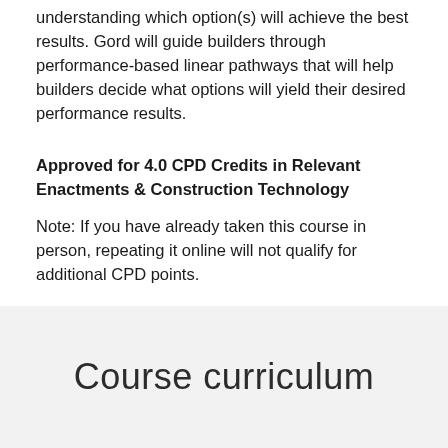understanding which option(s) will achieve the best results. Gord will guide builders through performance-based linear pathways that will help builders decide what options will yield their desired performance results.
Approved for 4.0 CPD Credits in Relevant Enactments & Construction Technology
Note: If you have already taken this course in person, repeating it online will not qualify for additional CPD points.
Course curriculum